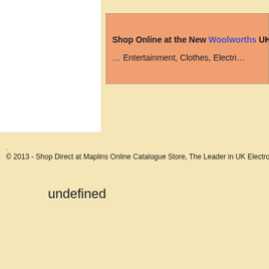[Figure (other): White rectangular box in upper left area of page]
Shop Online at the New Woolworths UK … Entertainment, Clothes, Electri…
.
© 2013 - Shop Direct at Maplins Online Catalogue Store, The Leader in UK Electronics Retail
undefined